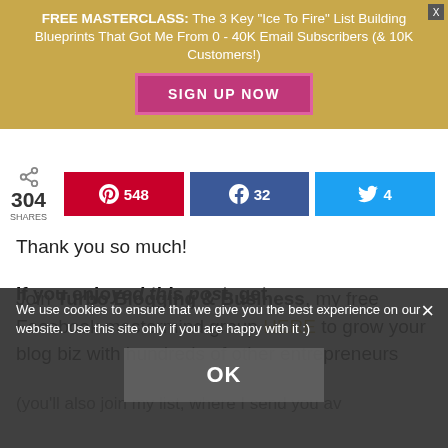[Figure (screenshot): FREE MASTERCLASS promotional banner overlay with gold background, text about Ice To Fire List Building Blueprints, 0-40K Email Subscribers and 10K Customers, with SIGN UP NOW button in pink/magenta]
[Figure (screenshot): Social share bar showing 304 SHARES, Pinterest button with 548, Facebook button with 32, Twitter button with 4]
Thank you so much!
Join Turbo Blogging & Business, my free Facebook mastermind group HERE to grow your blog biz with hundreds of other entrepreneurs
(you'll also join my list, where I send you av...
If you enjoyed this post, get
[Figure (screenshot): Cookie consent overlay with dark semi-transparent background. Text: We use cookies to ensure that we give you the best experience on our website. Use this site only if you are happy with it :) with OK button and X close button]